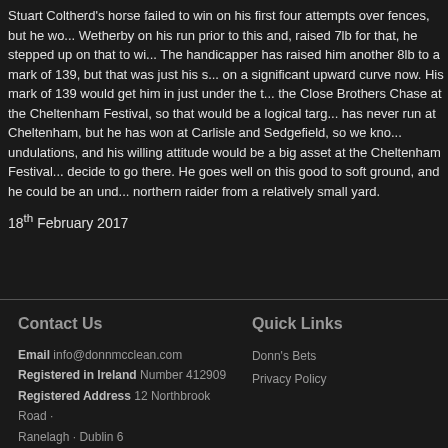Stuart Coltherd's horse failed to win on his first four attempts over fences, but he wo... Wetherby on his run prior to this and, raised 7lb for that, he stepped up on that to wi... The handicapper has raised him another 8lb to a mark of 139, but that was just his s... on a significant upward curve now. His mark of 139 would get him in just under the t... the Close Brothers Chase at the Cheltenham Festival, so that would be a logical targ... has never run at Cheltenham, but he has won at Carlisle and Sedgefield, so we kno... undulations, and his willing attitude would be a big asset at the Cheltenham Festival... decide to go there. He goes well on this good to soft ground, and he could be an und... northern raider from a relatively small yard.
18th February 2017
Contact Us | Email info@donnmcclean.com | Registered in Ireland Number 412909 | Registered Address 12 Northbrook Road · Ranelagh · Dublin 6 | Quick Links | Donn's Bets | Privacy Policy